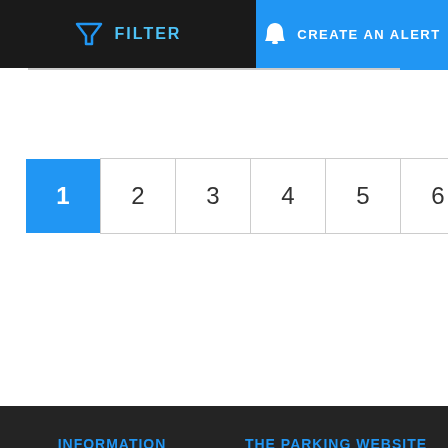FILTER | CREATE AN ALERT
1 2 3 4 5 6 >
INFORMATION
Who are we ?
Contact us
Terms of use
FAQ
THE PARKING WEBSITE
Professional area
Site map
Makes and models from A to Z
Top search from A to Z
TOP MODELS
HONDA CBR
SUZUKI BANDIT
YAMAHA YZF
KAWAZAKI Z750
HONDA HORNET
TOP MAKES
YAMAHA
HONDA
SUZUKI
KAWASAKI
BMW